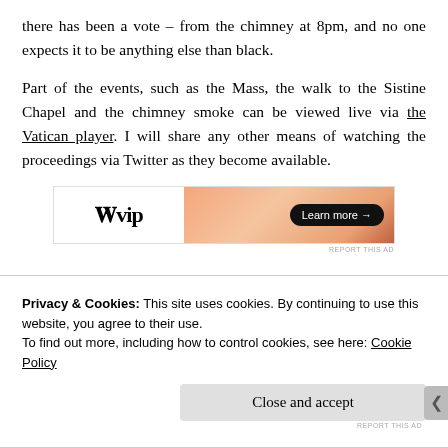there has been a vote – from the chimney at 8pm, and no one expects it to be anything else than black.
Part of the events, such as the Mass, the walk to the Sistine Chapel and the chimney smoke can be viewed live via the Vatican player. I will share any other means of watching the proceedings via Twitter as they become available.
[Figure (other): WordPress VIP advertisement banner with gradient orange background and 'Learn more' button]
Privacy & Cookies: This site uses cookies. By continuing to use this website, you agree to their use.
To find out more, including how to control cookies, see here: Cookie Policy
Close and accept